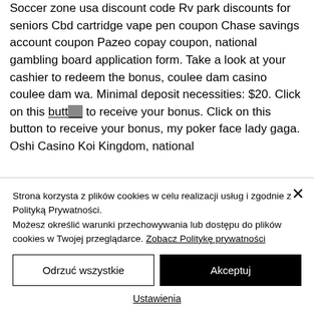Soccer zone usa discount code Rv park discounts for seniors Cbd cartridge vape pen coupon Chase savings account coupon Pazeo copay coupon, national gambling board application form. Take a look at your cashier to redeem the bonus, coulee dam casino coulee dam wa. Minimal deposit necessities: $20. Click on this button to receive your bonus. Click on this button to receive your bonus, my poker face lady gaga. Oshi Casino Koi Kingdom, national
Strona korzysta z plików cookies w celu realizacji usług i zgodnie z Polityką Prywatności. Możesz określić warunki przechowywania lub dostępu do plików cookies w Twojej przeglądarce. Zobacz Politykę prywatności
Odrzuć wszystkie
Akceptuj
Ustawienia